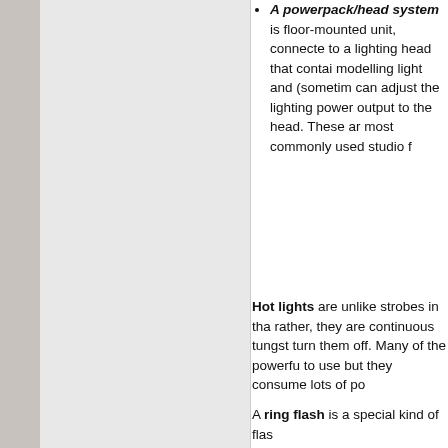A powerpack/head system is floor-mounted unit, connected to a lighting head that contains modelling light and (sometimes) can adjust the lighting power output to the head. These are most commonly used studio f
Hot lights are unlike strobes in that rather, they are continuous tungsten turn them off. Many of the powerful t to use but they consume lots of pow
A ring flash is a special kind of flas